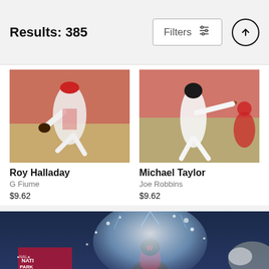Results: 385
Filters
[Figure (photo): Roy Halladay pitching, Philadelphia Phillies uniform, red cap, mid-windup on baseball field with crowd in background]
[Figure (photo): Michael Taylor batting, Washington Nationals uniform, full swing, catcher and crowd in background]
Roy Halladay
G Fiume
$9.62
Michael Taylor
Joe Robbins
$9.62
[Figure (photo): Baseball player being doused with water/ice bucket celebration at Nationals Park stadium at night, Nationals Park sign visible in background]